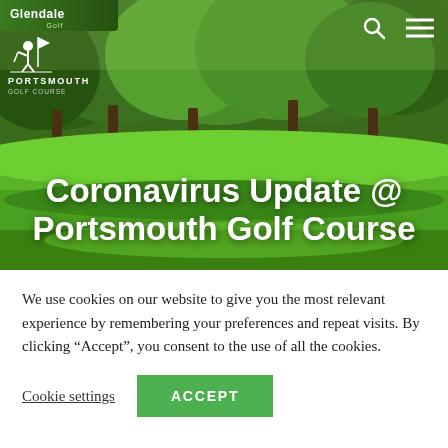[Figure (photo): Golf course hero image with trees and green fairway, with overlaid logos and navigation icons]
Coronavirus Update @ Portsmouth Golf Course
We use cookies on our website to give you the most relevant experience by remembering your preferences and repeat visits. By clicking “Accept”, you consent to the use of all the cookies.
Cookie settings | ACCEPT